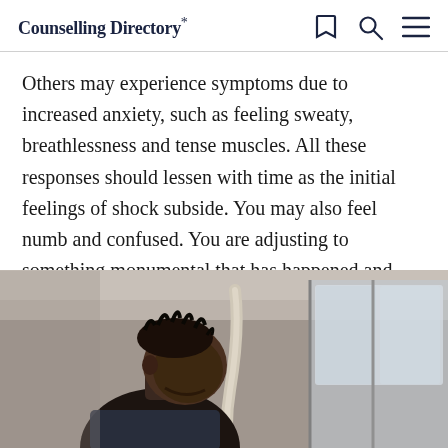Counselling Directory*
Others may experience symptoms due to increased anxiety, such as feeling sweaty, breathlessness and tense muscles. All these responses should lessen with time as the initial feelings of shock subside. You may also feel numb and confused. You are adjusting to something monumental that has happened and your brain may disassociate for short periods of time to help protect you from the pain.
[Figure (photo): A young Black man with dreadlocks, head bowed, standing near a train door holding a handrail, photographed in a subway or train setting. The image conveys sadness or contemplation.]